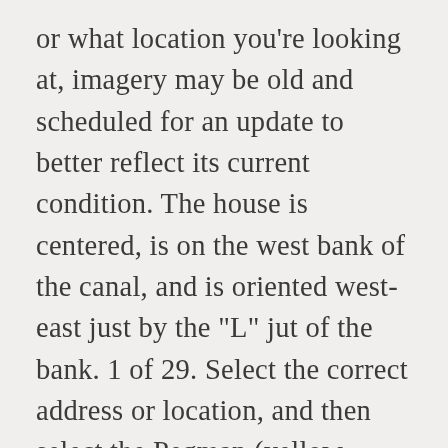or what location you're looking at, imagery may be old and scheduled for an update to better reflect its current condition. The house is centered, is on the west bank of the canal, and is oriented west-east just by the "L" jut of the bank. 1 of 29. Select the correct address or location, and then select the Pegman (yellow person icon) from the bottom right corner. Huntington settlers first visited the Amityville area in 1653 as a source of salt hay. The Instant Street View site is great if you want to look at a specific location immediately, but if you know how to use Google Maps, it's easy to switch to Street View if a location has been photographed by the Street View team. The following year, Amityville builder Jesse Perdy